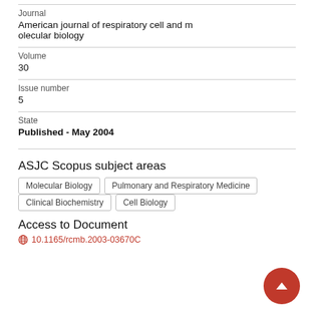Journal
American journal of respiratory cell and molecular biology
Volume
30
Issue number
5
State
Published - May 2004
ASJC Scopus subject areas
Molecular Biology
Pulmonary and Respiratory Medicine
Clinical Biochemistry
Cell Biology
Access to Document
10.1165/rcmb.2003-0367OC